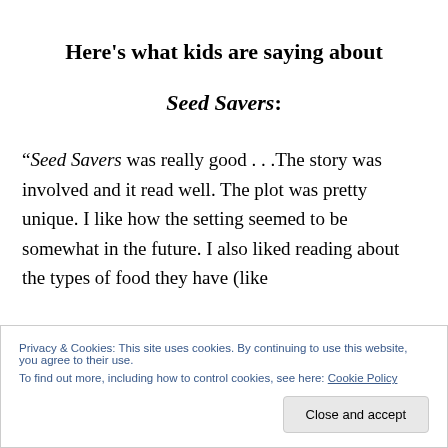Here's what kids are saying about
Seed Savers:
“Seed Savers was really good . . .The story was involved and it read well. The plot was pretty unique. I like how the setting seemed to be somewhat in the future. I also liked reading about the types of food they have (like
Privacy & Cookies: This site uses cookies. By continuing to use this website, you agree to their use.
To find out more, including how to control cookies, see here: Cookie Policy
Close and accept